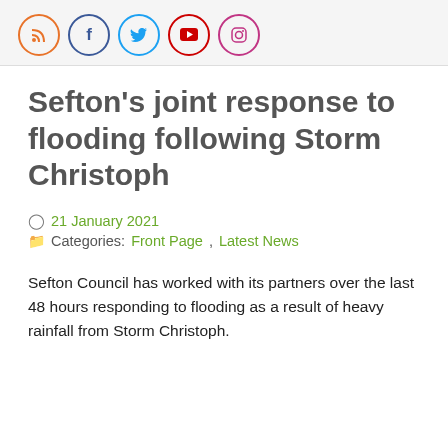Social media icons: RSS, Facebook, Twitter, YouTube, Instagram
Sefton's joint response to flooding following Storm Christoph
21 January 2021
Categories: Front Page, Latest News
Sefton Council has worked with its partners over the last 48 hours responding to flooding as a result of heavy rainfall from Storm Christoph.